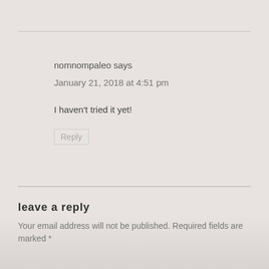nomnompaleo says
January 21, 2018 at 4:51 pm
I haven't tried it yet!
Reply
leave a reply
Your email address will not be published. Required fields are marked *